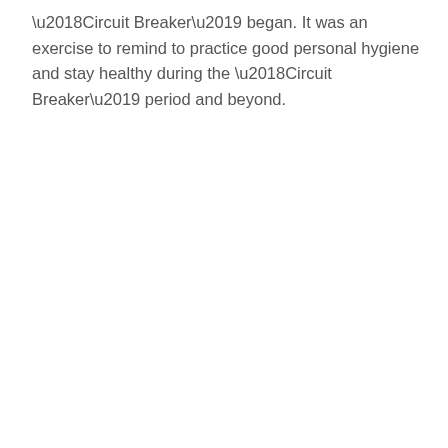‘Circuit Breaker’ began. It was an exercise to remind to practice good personal hygiene and stay healthy during the ‘Circuit Breaker’ period and beyond.